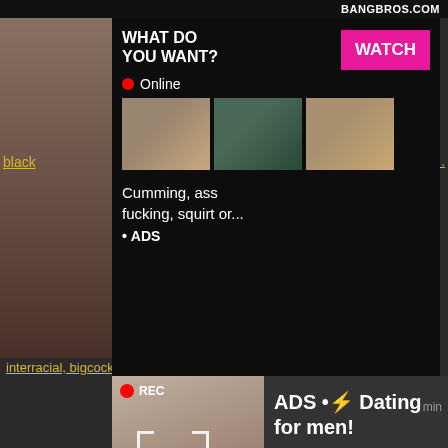BANGBROS.COM
[Figure (screenshot): Adult website advertisement overlay with video thumbnails, WATCH button, and text: WHAT DO YOU WANT? Online. Cumming, ass fucking, squirt or... ADS]
black..., bi...
[Figure (screenshot): Second adult advertisement with REC badge, camera viewfinder overlay, HD badge. Text: ADS • Dating for men! Find bad girls here]
HD
min
interracial, bigcock, bigblackcock, bigdick, bbc, black dic...